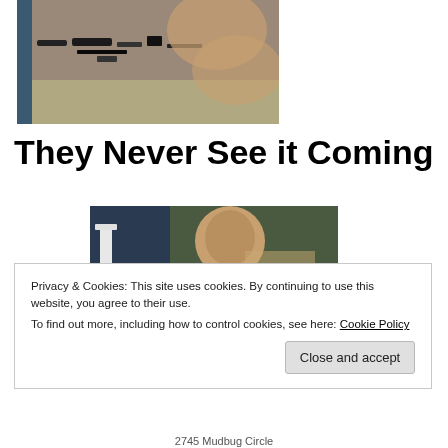[Figure (photo): A person lying on a bed surrounded by various items including guitars and other objects]
They Never See it Coming
[Figure (photo): A shirtless person with long hair sitting against a wall with a guitar visible]
Privacy & Cookies: This site uses cookies. By continuing to use this website, you agree to their use.
To find out more, including how to control cookies, see here: Cookie Policy
Close and accept
2745 Mudbug Circle